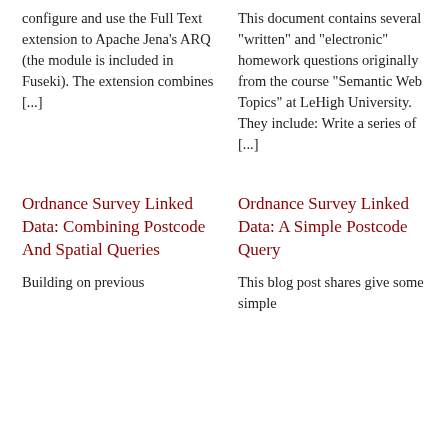configure and use the Full Text extension to Apache Jena's ARQ (the module is included in Fuseki). The extension combines [...]
This document contains several "written" and "electronic" homework questions originally from the course "Semantic Web Topics" at LeHigh University. They include: Write a series of [...]
Ordnance Survey Linked Data: Combining Postcode And Spatial Queries
Ordnance Survey Linked Data: A Simple Postcode Query
Building on previous
This blog post shares give some simple